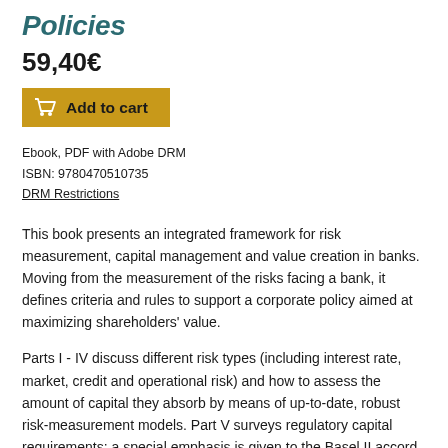Policies
59,40€
[Figure (other): Add to cart button with shopping cart icon]
Ebook, PDF with Adobe DRM
ISBN: 9780470510735
DRM Restrictions
This book presents an integrated framework for risk measurement, capital management and value creation in banks. Moving from the measurement of the risks facing a bank, it defines criteria and rules to support a corporate policy aimed at maximizing shareholders' value.
Parts I - IV discuss different risk types (including interest rate, market, credit and operational risk) and how to assess the amount of capital they absorb by means of up-to-date, robust risk-measurement models. Part V surveys regulatory capital requirements: a special emphasis is given to the Basel II accord, discussing its economic foundations and managerial implications. Part VI presents models and techniques to calibrate the amount of